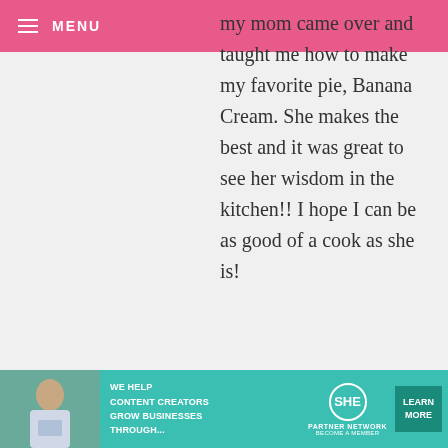MENU
my mom came over and taught me how to make my favorite pie, Banana Cream. She makes the best and it was great to see her wisdom in the kitchen!! I hope I can be as good of a cook as she is!
JESSICA — SEPTEMBER 24, 2012 @ 12:51 AM
REPLY
I loved baking cookies with my Aunt every year before Christmas.